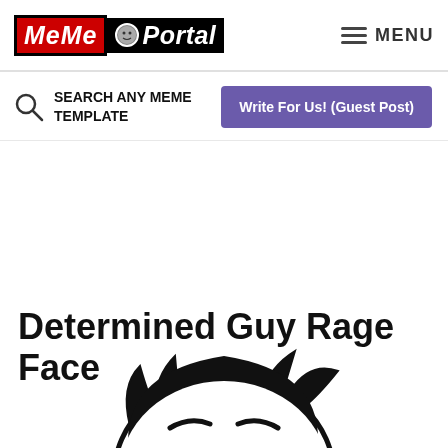MeMe Portal — MENU
SEARCH ANY MEME TEMPLATE
Write For Us! (Guest Post)
Determined Guy Rage Face
[Figure (illustration): Partial illustration of a rage face meme character, showing the top of a head with spiky hair in black and white line art]